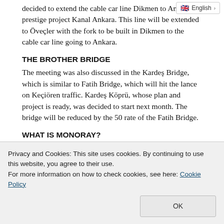decided to extend the cable car line Dikmen to Ankara's prestige project Kanal Ankara. This line will be extended to Öveçler with the fork to be built in Dikmen to the cable car line going to Ankara.
THE BROTHER BRIDGE
The meeting was also discussed in the Kardeş Bridge, which is similar to Fatih Bridge, which will hit the lance on Keçiören traffic. Kardeş Köprü, whose plan and project is ready, was decided to start next month. The bridge will be reduced by the 50 rate of the Fatih Bridge.
WHAT IS MONORAY?
The monorail is one of the city rail transportation types. As the
Privacy and Cookies: This site uses cookies. By continuing to use this website, you agree to their use.
For more information on how to check cookies, see here: Cookie Policy
first idea of monorails 19, it dates back to the end of the